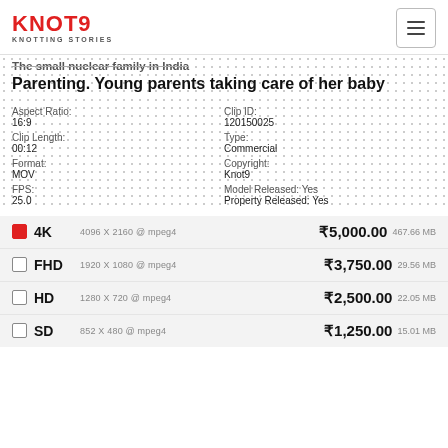KNOT9 KNOTTING STORIES
The small nuclear family in India Parenting. Young parents taking care of her baby
Aspect Ratio:
16:9
Clip Length:
00:12
Format:
MOV
FPS:
25.0
Clip ID:
120150025
Type:
Commercial
Copyright:
Knot9
Model Released: Yes
Property Released: Yes
| Format | Resolution | Price | Size |
| --- | --- | --- | --- |
| 4K | 4096 X 2160 @ mpeg4 | ₹5,000.00 | 467.66 MB |
| FHD | 1920 X 1080 @ mpeg4 | ₹3,750.00 | 29.56 MB |
| HD | 1280 X 720 @ mpeg4 | ₹2,500.00 | 22.05 MB |
| SD | 852 X 480 @ mpeg4 | ₹1,250.00 | 15.01 MB |